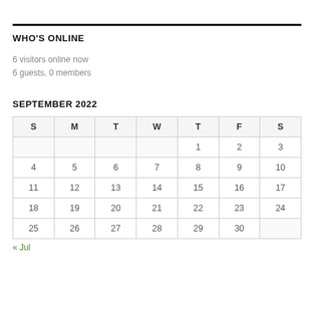WHO'S ONLINE
6 visitors online now
6 guests, 0 members
SEPTEMBER 2022
| S | M | T | W | T | F | S |
| --- | --- | --- | --- | --- | --- | --- |
|  |  |  |  | 1 | 2 | 3 |
| 4 | 5 | 6 | 7 | 8 | 9 | 10 |
| 11 | 12 | 13 | 14 | 15 | 16 | 17 |
| 18 | 19 | 20 | 21 | 22 | 23 | 24 |
| 25 | 26 | 27 | 28 | 29 | 30 |  |
« Jul